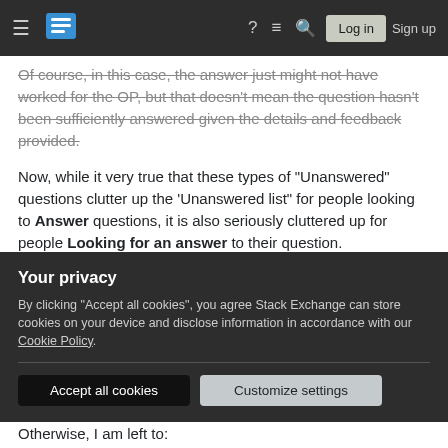Stack Exchange navigation bar with hamburger menu, logo, help icon, chat icon, search icon, Log in and Sign up buttons
Of course, in this case, the answer just might not have worked for the OP, but that doesn't mean the question hasn't been sufficiently answered given the details and feedback provided.
Now, while it very true that these types of "Unanswered" questions clutter up the 'Unanswered list" for people looking to Answer questions, it is also seriously cluttered up for people Looking for an answer to their question.
If I am looking/searching for an answer to solve a
Your privacy
By clicking "Accept all cookies", you agree Stack Exchange can store cookies on your device and disclose information in accordance with our Cookie Policy.
Otherwise, I am left to: